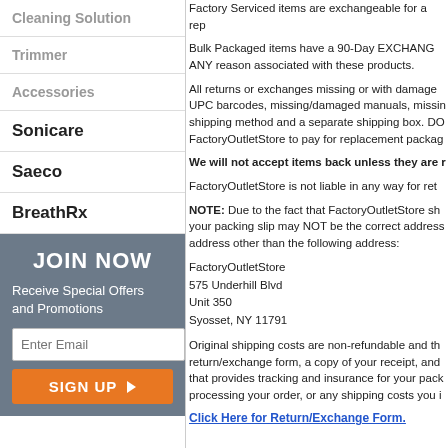Cleaning Solution
Trimmer
Accessories
Sonicare
Saeco
BreathRx
JOIN NOW
Receive Special Offers and Promotions
Factory Serviced items are exchangeable for a rep
Bulk Packaged items have a 90-Day EXCHANGE ANY reason associated with these products.
All returns or exchanges missing or with damage UPC barcodes, missing/damaged manuals, missin shipping method and a separate shipping box. DO FactoryOutletStore to pay for replacement packag
We will not accept items back unless they are r
FactoryOutletStore is not liable in any way for ret
NOTE: Due to the fact that FactoryOutletStore sh your packing slip may NOT be the correct address address other than the following address:
FactoryOutletStore
575 Underhill Blvd
Unit 350
Syosset, NY 11791
Original shipping costs are non-refundable and th return/exchange form, a copy of your receipt, and that provides tracking and insurance for your pack processing your order, or any shipping costs you i
Click Here for Return/Exchange Form.